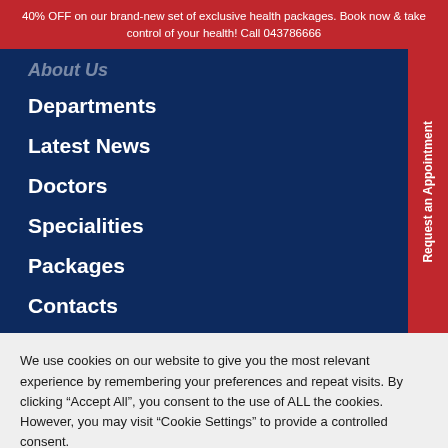40% OFF on our brand-new set of exclusive health packages. Book now & take control of your health! Call 043786666
About Us
Departments
Latest News
Doctors
Specialities
Packages
Contacts
Request an Appointment
We use cookies on our website to give you the most relevant experience by remembering your preferences and repeat visits. By clicking “Accept All”, you consent to the use of ALL the cookies. However, you may visit “Cookie Settings” to provide a controlled consent.
Cookie Settings
Accept All